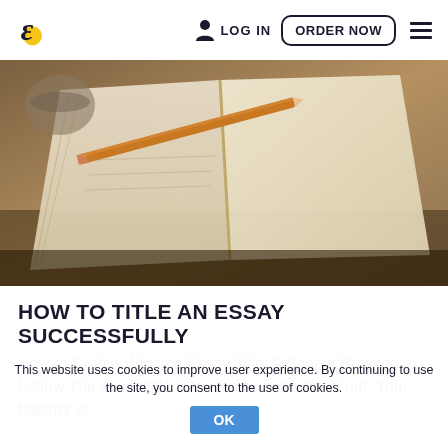LOG IN | ORDER NOW
[Figure (photo): Open notebook with a pencil resting on it, on a wooden table — sepia/warm-toned hero image for an essay writing website]
HOW TO TITLE AN ESSAY SUCCESSFULLY
How to Craft a Winning Essay Title: 9 Simple Rules to Follow The essay title is your chance to stand out. Your teacher or
This website uses cookies to improve user experience. By continuing to use the site, you consent to the use of cookies.